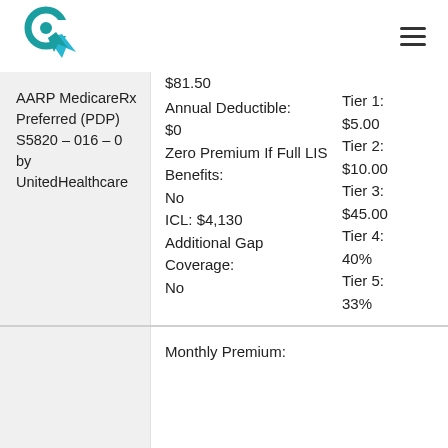Navigation header with logo and hamburger menu
$81.50
AARP MedicareRx Preferred (PDP) S5820 – 016 – 0 by UnitedHealthcare
| Plan Details | Value | Tier Info |
| --- | --- | --- |
| Annual Deductible: | $0 | Tier 1: $5.00 |
| Zero Premium If Full LIS Benefits: | No | Tier 2: $10.00 |
| ICL: | $4,130 | Tier 3: $45.00 |
| Additional Gap Coverage: | No | Tier 4: 40% |
|  |  | Tier 5: 33% |
Monthly Premium: